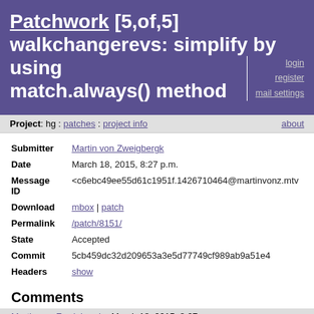Patchwork [5,of,5] walkchangerevs: simplify by using match.always() method
login
register
mail settings
Project: hg : patches : project info    about
| Field | Value |
| --- | --- |
| Submitter | Martin von Zweigbergk |
| Date | March 18, 2015, 8:27 p.m. |
| Message ID | <c6ebc49ee55d61c1951f.1426710464@martinvonz.mtv |
| Download | mbox | patch |
| Permalink | /patch/8151/ |
| State | Accepted |
| Commit | 5cb459dc32d209653a3e5d77749cf989ab9a51e4 |
| Headers | show |
Comments
Martin von Zweigbergk - March 18, 2015, 8:27 p.m.
# HG changeset patch
# ...